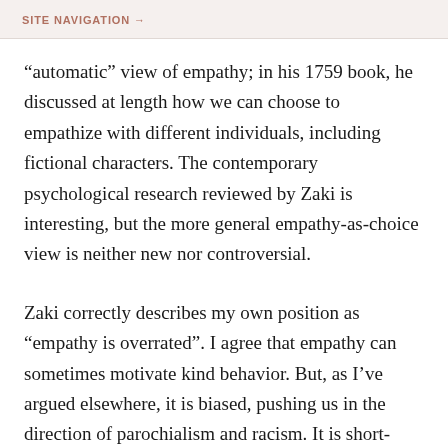SITE NAVIGATION →
“automatic” view of empathy; in his 1759 book, he discussed at length how we can choose to empathize with different individuals, including fictional characters. The contemporary psychological research reviewed by Zaki is interesting, but the more general empathy-as-choice view is neither new nor controversial.
Zaki correctly describes my own position as “empathy is overrated”. I agree that empathy can sometimes motivate kind behavior. But, as I’ve argued elsewhere, it is biased, pushing us in the direction of parochialism and racism. It is short-sighted, motivating actions that might make things better in the short term but lead to tragic results in the future. It is innumerate,